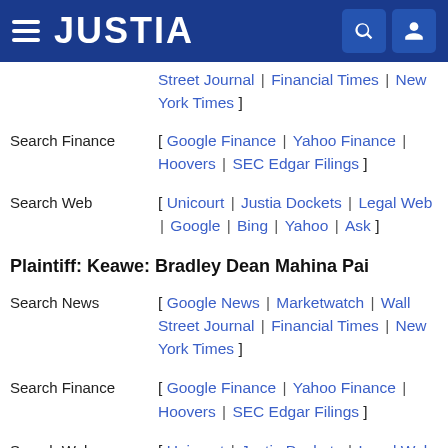JUSTIA
[ Street Journal | Financial Times | New York Times ]
Search Finance [ Google Finance | Yahoo Finance | Hoovers | SEC Edgar Filings ]
Search Web [ Unicourt | Justia Dockets | Legal Web | Google | Bing | Yahoo | Ask ]
Plaintiff: Keawe: Bradley Dean Mahina Pai
Search News [ Google News | Marketwatch | Wall Street Journal | Financial Times | New York Times ]
Search Finance [ Google Finance | Yahoo Finance | Hoovers | SEC Edgar Filings ]
Search Web [ Unicourt | Justia Dockets | Legal Web | Google | Bing | Yahoo | Ask ]
Defendant:...